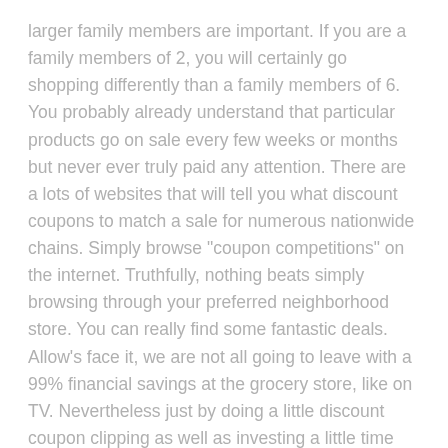larger family members are important. If you are a family members of 2, you will certainly go shopping differently than a family members of 6. You probably already understand that particular products go on sale every few weeks or months but never ever truly paid any attention. There are a lots of websites that will tell you what discount coupons to match a sale for numerous nationwide chains. Simply browse "coupon competitions" on the internet. Truthfully, nothing beats simply browsing through your preferred neighborhood store. You can really find some fantastic deals. Allow's face it, we are not all going to leave with a 99% financial savings at the grocery store, like on TV. Nevertheless just by doing a little discount coupon clipping as well as investing a little time planning, you could conserve approximately 40-60% on your regular purchasing journeys. Voucher Trimming is well worth the initiative!
know more about checksunlimited discounts here.